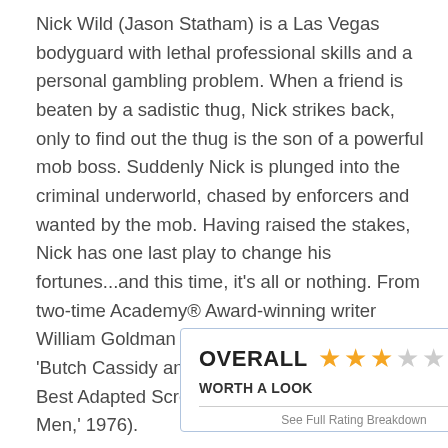Nick Wild (Jason Statham) is a Las Vegas bodyguard with lethal professional skills and a personal gambling problem. When a friend is beaten by a sadistic thug, Nick strikes back, only to find out the thug is the son of a powerful mob boss. Suddenly Nick is plunged into the criminal underworld, chased by enforcers and wanted by the mob. Having raised the stakes, Nick has one last play to change his fortunes...and this time, it's all or nothing. From two-time Academy® Award-winning writer William Goldman (Best Original Screenplay, 'Butch Cassidy and the Sundance Kid,' 1969; Best Adapted Screenplay, 'All the President's Men,' 1976).
[Figure (infographic): Rating box showing OVERALL rating of 3 out of 5 stars (filled gold stars) with label WORTH A LOOK and a divider line]